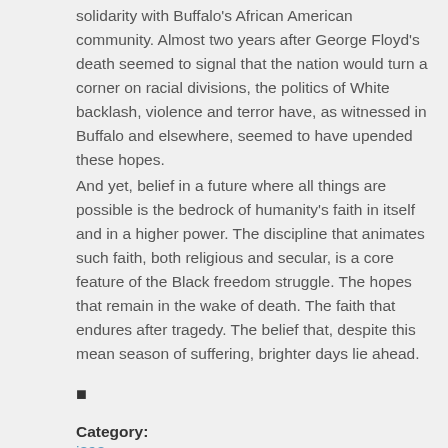solidarity with Buffalo's African American community. Almost two years after George Floyd's death seemed to signal that the nation would turn a corner on racial divisions, the politics of White backlash, violence and terror have, as witnessed in Buffalo and elsewhere, seemed to have upended these hopes.
And yet, belief in a future where all things are possible is the bedrock of humanity's faith in itself and in a higher power. The discipline that animates such faith, both religious and secular, is a core feature of the Black freedom struggle. The hopes that remain in the wake of death. The faith that endures after tragedy. The belief that, despite this mean season of suffering, brighter days lie ahead.
■
Category:
i898
Tags:
American, Buffalo, opinion, part, tragedy, unfolding